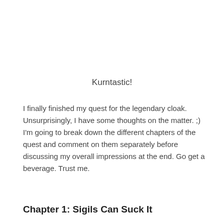Kurntastic!
I finally finished my quest for the legendary cloak. Unsurprisingly, I have some thoughts on the matter. ;) I'm going to break down the different chapters of the quest and comment on them separately before discussing my overall impressions at the end. Go get a beverage. Trust me.
Chapter 1: Sigils Can Suck It